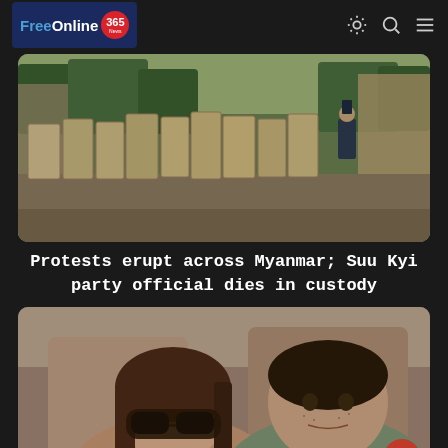FreeOnline 365 News
[Figure (photo): Protest scene in Myanmar showing protesters carrying cardboard shields in the street, with police visible and urban buildings in background]
Protests erupt across Myanmar; Suu Kyi party official dies in custody
[Figure (photo): Two people, a woman wearing large sunglasses and a man, photographed together inside a vehicle]